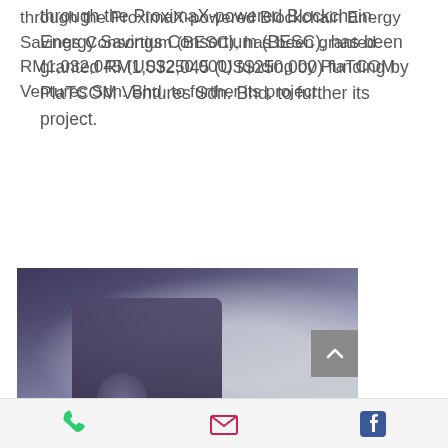through the ProximaX-powered Blockchain Energy Savings Consortium (BESC), has been granted RM1,032,045 (US$250,000) funding by PlaTCOM Ventures Sdn. Bhd. to further its project.
VIEW MORE
[Figure (photo): Blurred photograph showing people in a room, partially obscured. On the right side is a gray scroll-to-top button with an upward arrow.]
Phone | Email | Facebook